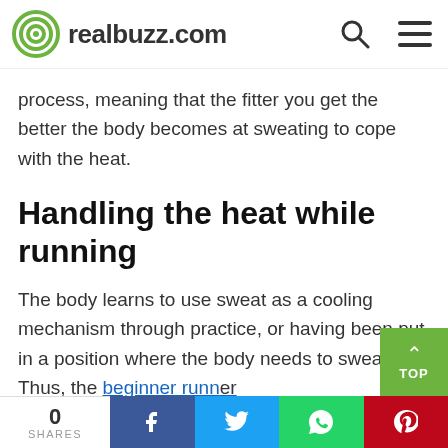realbuzz.com
process, meaning that the fitter you get the better the body becomes at sweating to cope with the heat.
Handling the heat while running
The body learns to use sweat as a cooling mechanism through practice, or having been put in a position where the body needs to sweat. Thus, the beginner runner